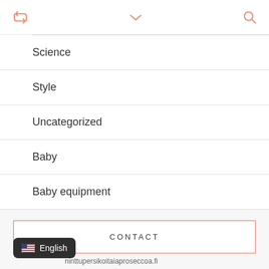Science
Style
Uncategorized
Baby
Baby equipment
CONTACT
English
ninttupersikoitaiaproseccoa.fi